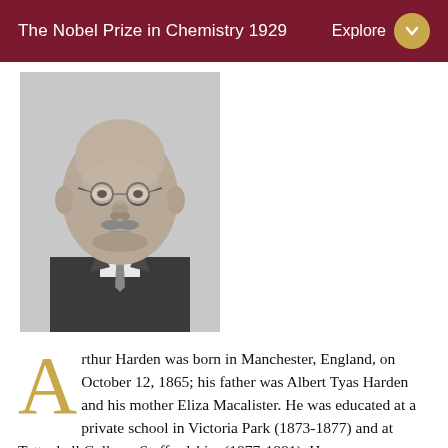The Nobel Prize in Chemistry 1929
[Figure (photo): Black and white portrait photograph of Arthur Harden, an elderly bald man wearing glasses, a suit and tie, with a mustache]
Arthur Harden was born in Manchester, England, on October 12, 1865; his father was Albert Tyas Harden and his mother Eliza Macalister. He was educated at a private school in Victoria Park (1873-1877) and at Tettenhall College, Staffordshire (1877-1881). He